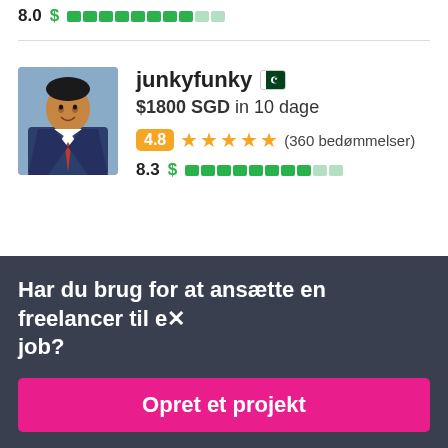8.0 $ [bar]
[Figure (other): Freelancer profile card for junkyfunky with avatar photo, Pakistan flag, $1800 SGD in 10 dage, rating 4.8 stars (360 bedømmelser), score 8.3]
junkyfunky
$1800 SGD in 10 dage
4.8 ★★★★★ (360 bedømmelser)
8.3 $ [bar]
Har du brug for at ansætte en freelancer til et job?
Opret et projekt